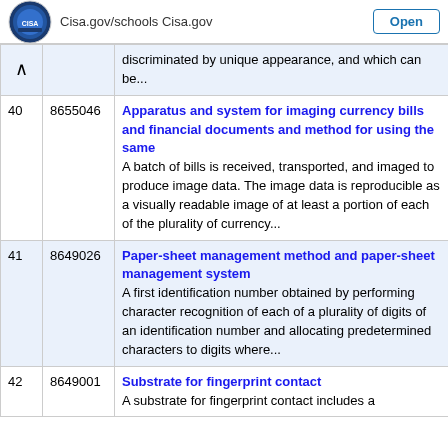Cisa.gov/schools Cisa.gov  Open
| # | Patent | Description |
| --- | --- | --- |
| ^ |  | discriminated by unique appearance, and which can be... |
| 40 | 8655046 | Apparatus and system for imaging currency bills and financial documents and method for using the same
A batch of bills is received, transported, and imaged to produce image data. The image data is reproducible as a visually readable image of at least a portion of each of the plurality of currency... |
| 41 | 8649026 | Paper-sheet management method and paper-sheet management system
A first identification number obtained by performing character recognition of each of a plurality of digits of an identification number and allocating predetermined characters to digits where... |
| 42 | 8649001 | Substrate for fingerprint contact
A substrate for fingerprint contact includes a |